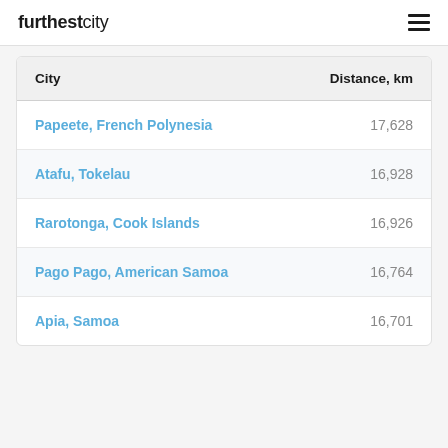furthestcity
| City | Distance, km |
| --- | --- |
| Papeete, French Polynesia | 17,628 |
| Atafu, Tokelau | 16,928 |
| Rarotonga, Cook Islands | 16,926 |
| Pago Pago, American Samoa | 16,764 |
| Apia, Samoa | 16,701 |